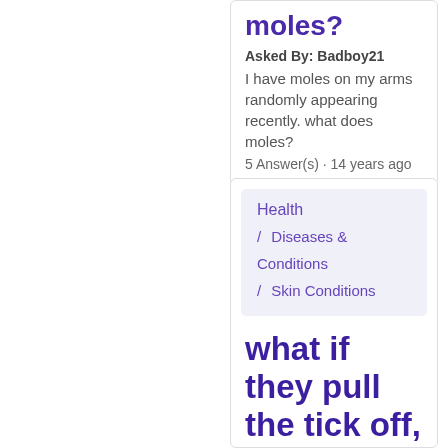moles?
Asked By: Badboy21
I have moles on my arms randomly appearing recently. what does moles?
5 Answer(s) · 14 years ago
Health / Diseases & Conditions / Skin Conditions
what if they pull the tick off, but it still has like a bump on her back? what